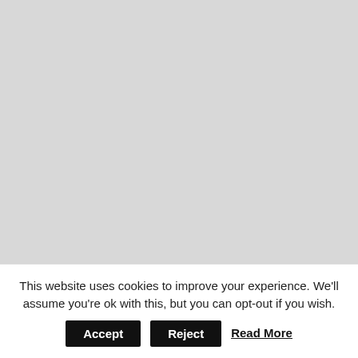[Figure (illustration): Promotional image for Nurse Printable Masks showing cartoon nurse/doctor face masks in various styles (colored and black-and-white coloring book versions) on a gray background, with a green banner displaying 'Nurse Printable Masks' text and a printer icon on a yellow circle, and a partial nurse mask at the bottom.]
This website uses cookies to improve your experience. We'll assume you're ok with this, but you can opt-out if you wish.
Accept
Reject
Read More